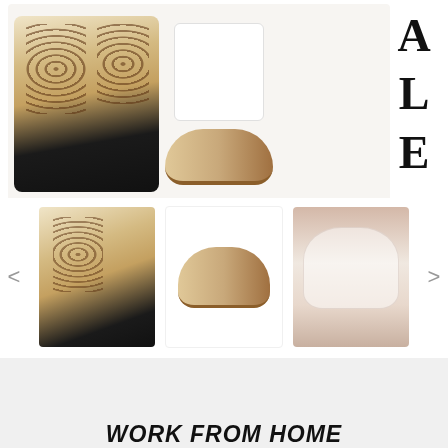[Figure (photo): Top collage image showing a leopard print beige cardigan worn by a model, a white t-shirt, and a beige sherpa slipper/mule]
ALE
[Figure (photo): Thumbnail row showing: leopard print cardigan, beige sherpa slippers, white lace bralette, with left and right navigation arrows]
WORK FROM HOME